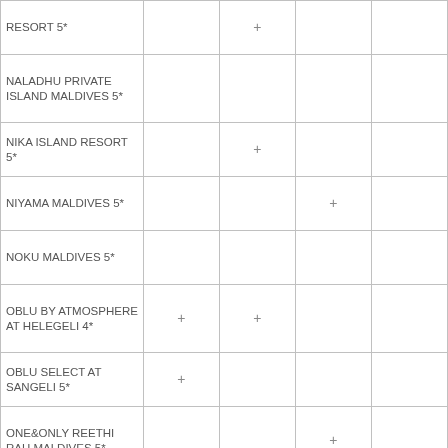| Hotel | Col1 | Col2 | Col3 | Col4 |
| --- | --- | --- | --- | --- |
| RESORT 5* |  | + |  |  |
| NALADHU PRIVATE ISLAND MALDIVES 5* |  |  |  |  |
| NIKA ISLAND RESORT 5* |  | + |  |  |
| NIYAMA MALDIVES 5* |  |  | + |  |
| NOKU MALDIVES 5* |  |  |  |  |
| OBLU BY ATMOSPHERE AT HELEGELI 4* | + | + |  |  |
| OBLU SELECT AT SANGELI 5* | + |  |  |  |
| ONE&ONLY REETHI RAH MALDIVES 5* |  |  | + |  |